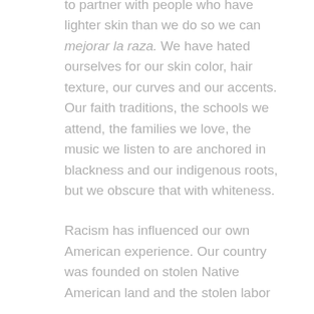to partner with people who have lighter skin than we do so we can mejorar la raza. We have hated ourselves for our skin color, hair texture, our curves and our accents. Our faith traditions, the schools we attend, the families we love, the music we listen to are anchored in blackness and our indigenous roots, but we obscure that with whiteness.
Racism has influenced our own American experience. Our country was founded on stolen Native American land and the stolen labor